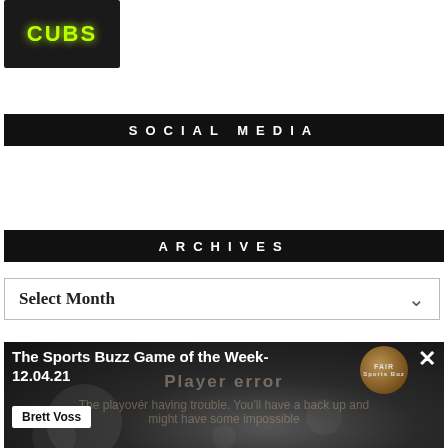[Figure (logo): Sports Buzz logo with green text on dark background with light streak]
SOCIAL MEDIA
ARCHIVES
Select Month
[Figure (screenshot): Video card with title 'The Sports Buzz Game of the Week- 12.04.21', author 'Brett Voss', Player error overlay, dark background with blurred crowd]
The Sports Buzz Game of the Week- 12.04.21
Brett Voss